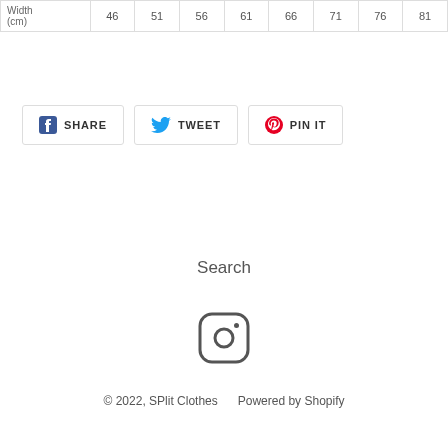| Width (cm) | 46 | 51 | 56 | 61 | 66 | 71 | 76 | 81 |
| --- | --- | --- | --- | --- | --- | --- | --- | --- |
SHARE  TWEET  PIN IT
Search
[Figure (logo): Instagram icon (rounded square camera outline with inner circle)]
© 2022, SPlit Clothes    Powered by Shopify